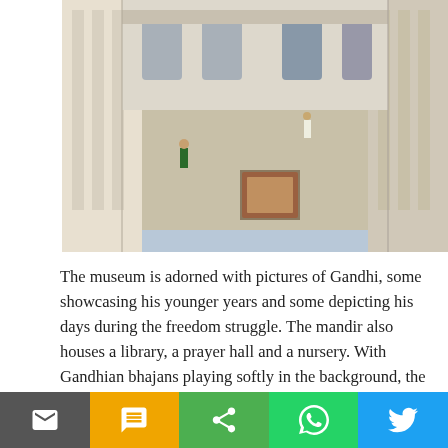[Figure (photo): Aerial/elevated view of a white Indian architectural courtyard with colonnaded walkways, decorative mosaic floor panel, and two people standing in the open space.]
The museum is adorned with pictures of Gandhi, some showcasing his younger years and some depicting his days during the freedom struggle. The mandir also houses a library, a prayer hall and a nursery. With Gandhian bhajans playing softly in the background, the place exudes an ambience more holy and tranquil than that of any place of worship.
Adjacent to the memorial is a three-storey, 22-room quaint house where Mohandas was born in 1869 (a swastika on the